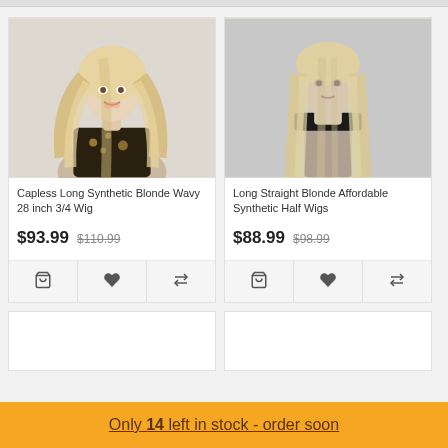[Figure (photo): Woman with long blonde wavy hair wearing black floral top - wig product photo]
Capless Long Synthetic Blonde Wavy 28 inch 3/4 Wig
$93.99  $110.99
[Figure (photo): Mannequin with long straight blonde hair wearing black headband - wig product photo]
Long Straight Blonde Affordable Synthetic Half Wigs
$88.99  $98.99
Only 14 left in stock - order soon